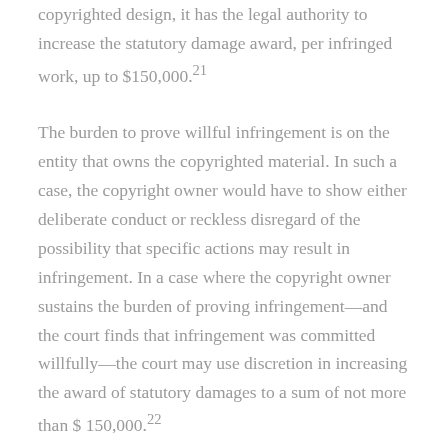copyrighted design, it has the legal authority to increase the statutory damage award, per infringed work, up to $150,000.21
The burden to prove willful infringement is on the entity that owns the copyrighted material. In such a case, the copyright owner would have to show either deliberate conduct or reckless disregard of the possibility that specific actions may result in infringement. In a case where the copyright owner sustains the burden of proving infringement—and the court finds that infringement was committed willfully—the court may use discretion in increasing the award of statutory damages to a sum of not more than $ 150,000.22